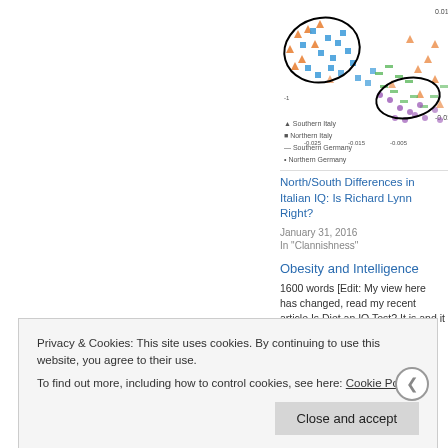[Figure (continuous-plot): Scatter plot showing genetic/IQ data for Southern Italy, Northern Italy, Southern Germany, Northern Germany groups with ellipses drawn around clusters. Axes show values around -0.025, -0.015, -0.005, 0.01, -0.01. Legend visible at bottom left of chart.]
North/South Differences in Italian IQ: Is Richard Lynn Right?
January 31, 2016
In "Clannishness"
Obesity and Intelligence
1600 words [Edit: My view here has changed, read my recent article Is Diet an IQ Test?  It is and it is, of course, much more
Privacy & Cookies: This site uses cookies. By continuing to use this website, you agree to their use.
To find out more, including how to control cookies, see here: Cookie Policy
Close and accept